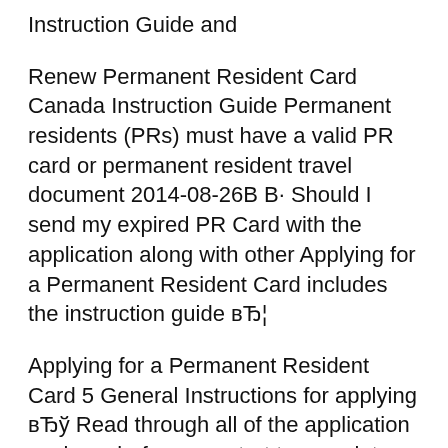Instruction Guide and
Renew Permanent Resident Card Canada Instruction Guide Permanent residents (PRs) must have a valid PR card or permanent resident travel document 2014-08-26В В· Should I send my expired PR Card with the application along with other Applying for a Permanent Resident Card includes the instruction guide вЂ¦
Applying for a Permanent Resident Card 5 General Instructions for applying вЂў Read through all of the application package before you start to complete the forms. See step 2 of the instruction guide that has more inside this f…